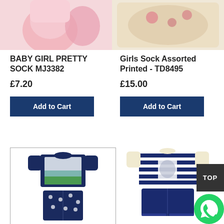[Figure (photo): Pink baby girl socks product image, top cropped]
[Figure (photo): Girls assorted printed socks product image, top cropped]
BABY GIRL PRETTY SOCK MJ3382
£7.20
Add to Cart
Girls Sock Assorted Printed - TD8495
£15.00
Add to Cart
[Figure (photo): Tottenham Hotspur pyjama set - navy t-shirt with stadium print and navy patterned trousers]
[Figure (photo): Harry Potter Ravenclaw navy striped pyjama set - striped t-shirt and navy shorts]